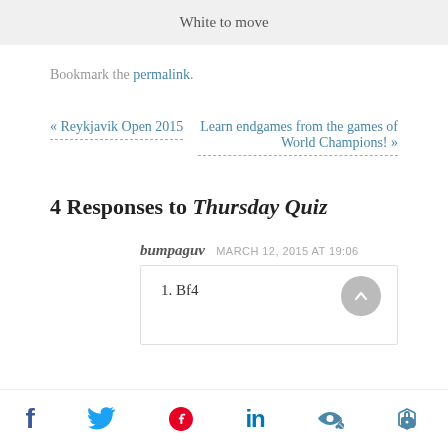White to move
Bookmark the permalink.
« Reykjavik Open 2015
Learn endgames from the games of World Champions! »
4 Responses to Thursday Quiz
bumpaguv  MARCH 12, 2015 AT 19:06
1. Bf4